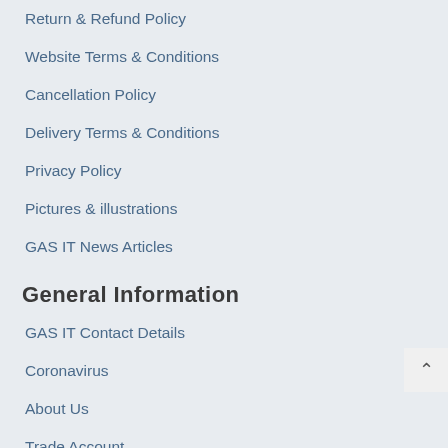Return & Refund Policy
Website Terms & Conditions
Cancellation Policy
Delivery Terms & Conditions
Privacy Policy
Pictures & illustrations
GAS IT News Articles
General Information
GAS IT Contact Details
Coronavirus
About Us
Trade Account